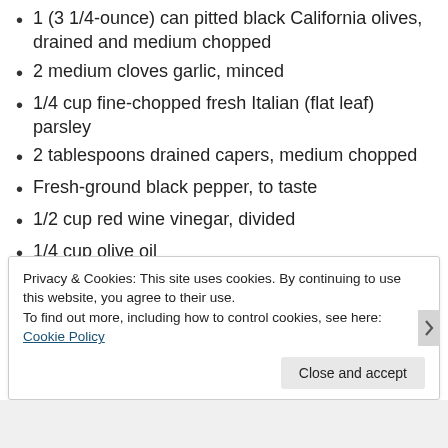1 (3 1/4-ounce) can pitted black California olives, drained and medium chopped
2 medium cloves garlic, minced
1/4 cup fine-chopped fresh Italian (flat leaf) parsley
2 tablespoons drained capers, medium chopped
Fresh-ground black pepper, to taste
1/2 cup red wine vinegar, divided
1/4 cup olive oil
Privacy & Cookies: This site uses cookies. By continuing to use this website, you agree to their use.
To find out more, including how to control cookies, see here: Cookie Policy